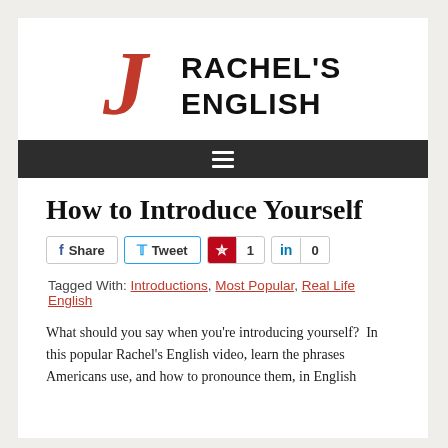[Figure (logo): Rachel's English logo with a red stylized J and bold black text RACHEL'S ENGLISH]
[Figure (infographic): Dark navigation bar with hamburger menu icon (three horizontal lines)]
How to Introduce Yourself
Share  Tweet  1  0 (social sharing buttons)
Tagged With: Introductions, Most Popular, Real Life English
What should you say when you're introducing yourself?  In this popular Rachel's English video, learn the phrases Americans use, and how to pronounce them, in English